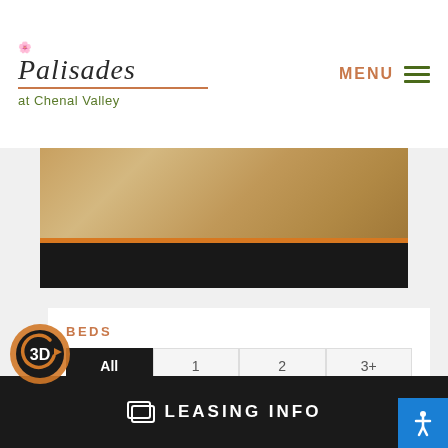Palisades at Chenal Valley — MENU navigation header
[Figure (photo): Partial view of tan/brown soft furnishing with orange bar and black bar below]
BEDS
Filter buttons: ALL (active), 1, 2, 3+
BATHS
Filter buttons: ALL (active, partial)
[Figure (logo): 3D circular orange badge with arrow]
LEASING INFO